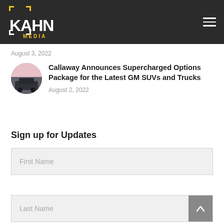KAHN MEDIA
August 3, 2022
Callaway Announces Supercharged Options Package for the Latest GM SUVs and Trucks
August 2, 2022
Sign up for Updates
First Name
Last Name